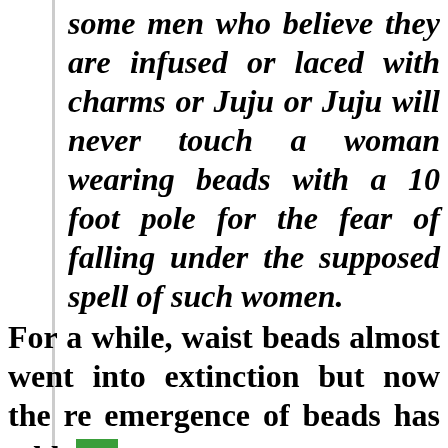some men who believe they are infused or laced with charms or Juju or Juju will never touch a woman wearing beads with a 10 foot pole for the fear of falling under the supposed spell of such women.
For a while, waist beads almost went into extinction but now the re emergence of beads has added